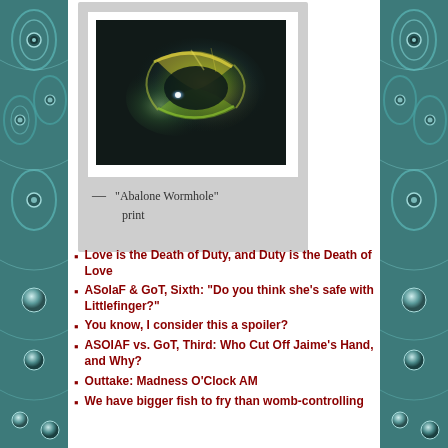[Figure (photo): Polaroid-style photo frame containing an abstract image of a glowing wormhole or lens flare effect — bright yellowish-green light against a dark background, styled like a polaroid print with a caption below reading: — "Abalone Wormhole" print]
— "Abalone Wormhole" print
Love is the Death of Duty, and Duty is the Death of Love
ASoIaF & GoT, Sixth: "Do you think she's safe with Littlefinger?"
You know, I consider this a spoiler?
ASOIAF vs. GoT, Third: Who Cut Off Jaime's Hand, and Why?
Outtake: Madness O'Clock AM
We have bigger fish to fry than womb-controlling